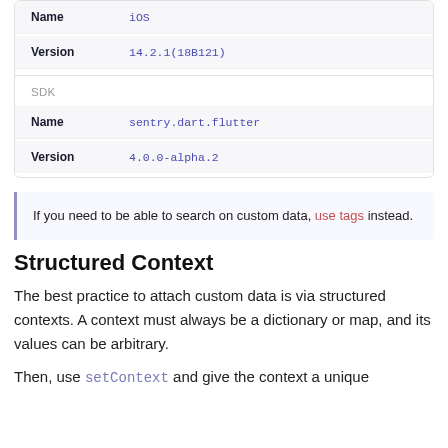| Key | Value |
| --- | --- |
| Name | iOS |
| Version | 14.2.1(18B121) |
| SDK |  |
| Name | sentry.dart.flutter |
| Version | 4.0.0-alpha.2 |
If you need to be able to search on custom data, use tags instead.
Structured Context
The best practice to attach custom data is via structured contexts. A context must always be a dictionary or map, and its values can be arbitrary.
Then, use setContext and give the context a unique